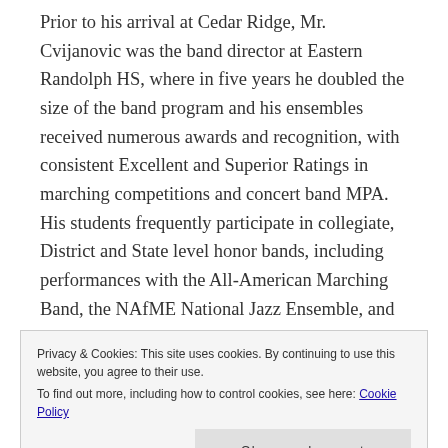Prior to his arrival at Cedar Ridge, Mr. Cvijanovic was the band director at Eastern Randolph HS, where in five years he doubled the size of the band program and his ensembles received numerous awards and recognition, with consistent Excellent and Superior Ratings in marching competitions and concert band MPA. His students frequently participate in collegiate, District and State level honor bands, including performances with the All-American Marching Band, the NAfME National Jazz Ensemble, and the Grammy Jazz Band. Josh has continued the success of the Cedar Ridge program with superior ratings at Concert and Jazz MPA, and a performance by his Jazz Ensemble at the 2015 NCMEA
Privacy & Cookies: This site uses cookies. By continuing to use this website, you agree to their use. To find out more, including how to control cookies, see here: Cookie Policy
Close and accept
2018. In May of the same year, the Wind Ensemble was